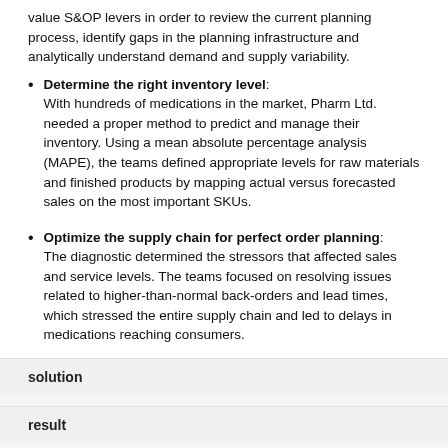value S&OP levers in order to review the current planning process, identify gaps in the planning infrastructure and analytically understand demand and supply variability.
Determine the right inventory level: With hundreds of medications in the market, Pharm Ltd. needed a proper method to predict and manage their inventory. Using a mean absolute percentage analysis (MAPE), the teams defined appropriate levels for raw materials and finished products by mapping actual versus forecasted sales on the most important SKUs.
Optimize the supply chain for perfect order planning: The diagnostic determined the stressors that affected sales and service levels. The teams focused on resolving issues related to higher-than-normal back-orders and lead times, which stressed the entire supply chain and led to delays in medications reaching consumers.
solution
result